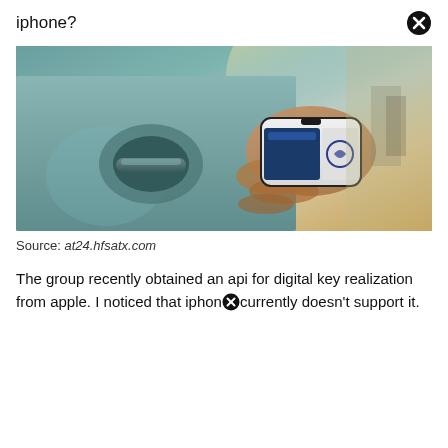iphone?
[Figure (photo): A hand holding an iPhone up to a car door handle, demonstrating a digital car key feature. The car is silver/grey and the phone displays a Mazda or similar car brand interface.]
Source: at24.hfsatx.com
The group recently obtained an api for digital key realization from apple. I noticed that iphone currently doesn't support it.